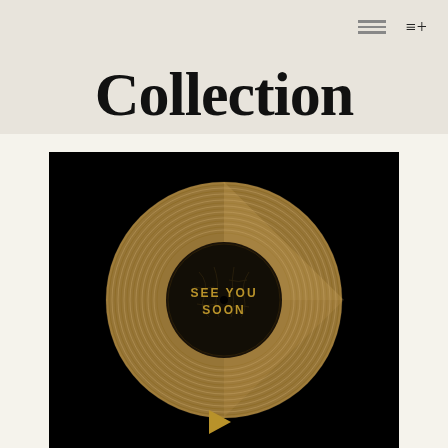≡+
Collection
[Figure (illustration): A gold/bronze vinyl record on a black background with a dark label in the center reading 'SEE YOU SOON' in golden text. Below the record is a golden play button triangle icon.]